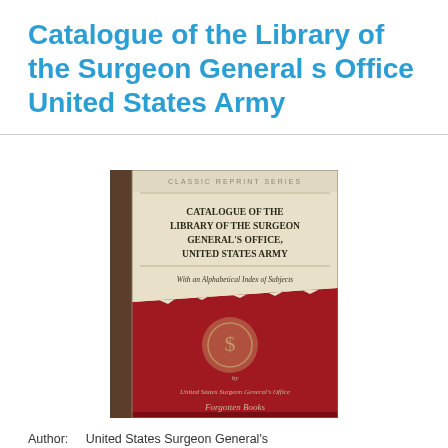Catalogue of the Library of the Surgeon General s Office United States Army
[Figure (illustration): Book cover of 'Catalogue of the Library of the Surgeon General's Office, United States Army' from the Classic Reprint Series, published by Forgotten Books. The cover has a cream/tan top section with text and a dark red/maroon bottom section with a decorative seal.]
Author: United States Surgeon General's